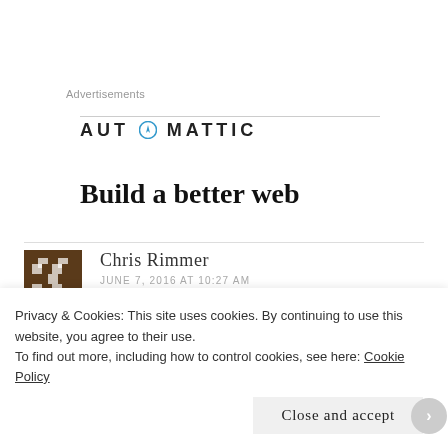Advertisements
[Figure (logo): Automattic logo with compass icon in letter O, uppercase text AUTOMATTIC]
Build a better web
Chris Rimmer
JUNE 7, 2016 AT 10:27 AM
Privacy & Cookies: This site uses cookies. By continuing to use this website, you agree to their use.
To find out more, including how to control cookies, see here: Cookie Policy
Close and accept